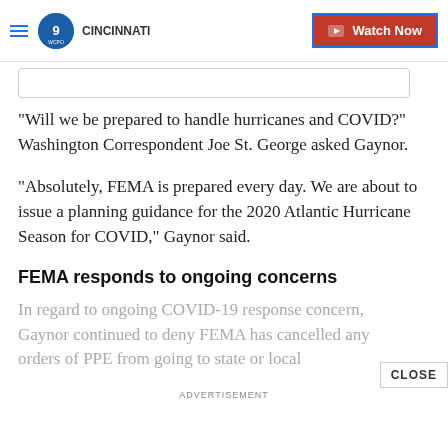WCPO 9 Cincinnati — Watch Now
"Will we be prepared to handle hurricanes and COVID?" Washington Correspondent Joe St. George asked Gaynor.
"Absolutely, FEMA is prepared every day. We are about to issue a planning guidance for the 2020 Atlantic Hurricane Season for COVID," Gaynor said.
FEMA responds to ongoing concerns
In regard to ongoing COVID-19 response concern, Gaynor continued to deny FEMA has cancelled any orders of PPE from going to state or local